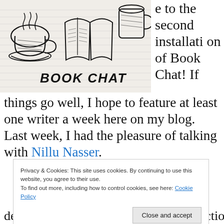[Figure (illustration): Hand-drawn sketch on lined paper showing a cup of coffee/tea on a saucer, an open book, and a jar, with 'BOOK CHAT' written in large hand-drawn lettering below.]
e to the second installation of Book Chat! If things go well, I hope to feature at least one writer a week here on my blog. Last week, I had the pleasure of talking with Nillu Nasser.
Privacy & Cookies: This site uses cookies. By continuing to use this website, you agree to their use.
To find out more, including how to control cookies, see here: Cookie Policy
Close and accept
defunct, publisher. Paula writes both fiction